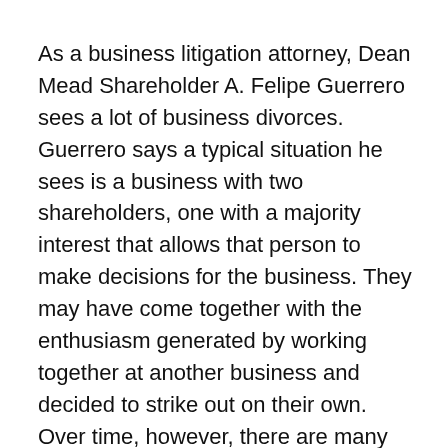As a business litigation attorney, Dean Mead Shareholder A. Felipe Guerrero sees a lot of business divorces. Guerrero says a typical situation he sees is a business with two shareholders, one with a majority interest that allows that person to make decisions for the business. They may have come together with the enthusiasm generated by working together at another business and decided to strike out on their own. Over time, however, there are many reasons for one partner, often the minority shareholder, to grow dissatisfied. Maybe they disagree about the direction the majority partner is moving the business in or feel one person does most of the work. The minority partner may want dividend distributions while the majority decides to invest profits back into the